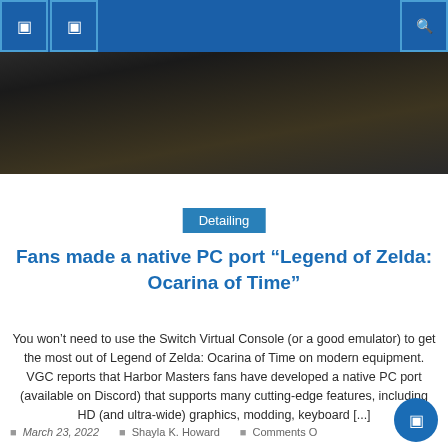navigation header with icons
[Figure (photo): Dark hero image showing a device or object on a brown/dark surface]
Detailing
Fans made a native PC port “Legend of Zelda: Ocarina of Time”
You won’t need to use the Switch Virtual Console (or a good emulator) to get the most out of Legend of Zelda: Ocarina of Time on modern equipment. VGC reports that Harbor Masters fans have developed a native PC port (available on Discord) that supports many cutting-edge features, including HD (and ultra-wide) graphics, modding, keyboard [...]
March 23, 2022   Shayla K. Howard   Comments O